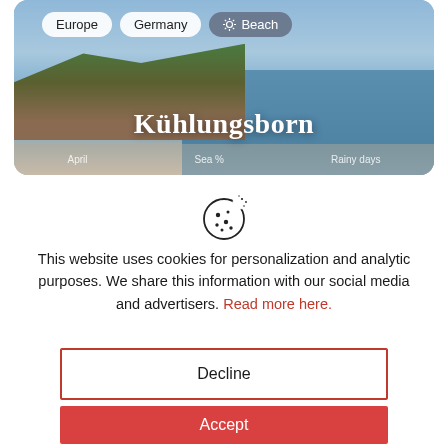[Figure (photo): Travel website screenshot showing Kühlungsborn, Germany. Tags: Europe, Germany, Beach. Coastal town photo with sea and trees visible.]
[Figure (illustration): Cookie icon — circular cookie with dots/chips, outline style]
This website uses cookies for personalization and analytic purposes. We share this information with our social media and advertisers. Read more here.
Decline
Accept